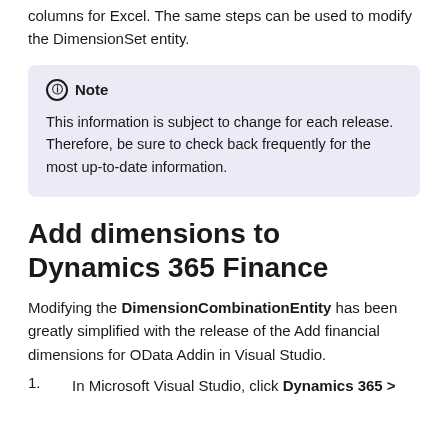columns for Excel. The same steps can be used to modify the DimensionSet entity.
Note
This information is subject to change for each release. Therefore, be sure to check back frequently for the most up-to-date information.
Add dimensions to Dynamics 365 Finance
Modifying the DimensionCombinationEntity has been greatly simplified with the release of the Add financial dimensions for OData Addin in Visual Studio.
1. In Microsoft Visual Studio, click Dynamics 365 > Add financial dimensions for...